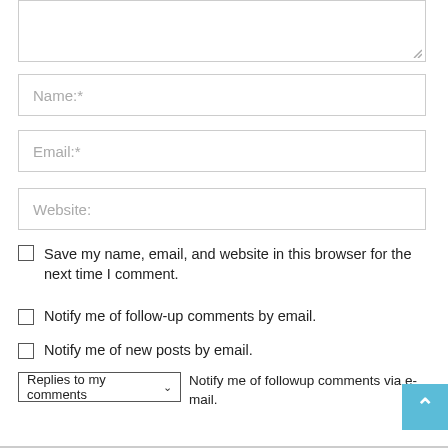[Figure (screenshot): Textarea input box (partially visible, top of page)]
Name:*
Email:*
Website:
Save my name, email, and website in this browser for the next time I comment.
Notify me of follow-up comments by email.
Notify me of new posts by email.
Replies to my comments ✓  Notify me of followup comments via e-mail.